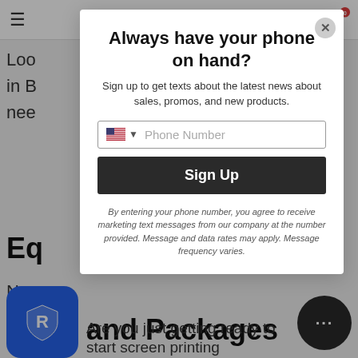≡  [cart icon] 0
Loo... ols in B... ou nee...
Eq...
Nee... deli... ing equipment and machines that printers want.
...and Packages
Are you just getting ready to start screen printing
[Figure (screenshot): Modal popup with title 'Always have your phone on hand?', subtitle 'Sign up to get texts about the latest news about sales, promos, and new products.', phone number input field with US flag, Sign Up button, and disclaimer text about marketing messages.]
[Figure (logo): Blue rounded square app icon with white shield/R logo]
[Figure (other): Dark circular chat button with ellipsis (...)]